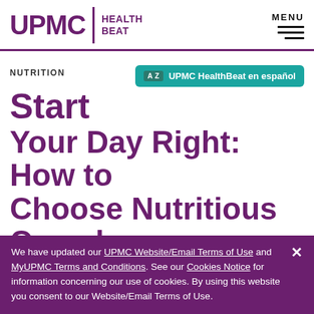UPMC HEALTH BEAT
NUTRITION
A Z  UPMC HealthBeat en español
Start Your Day Right: How to Choose Nutritious Cereal Options
7 Minute Read
Medically Reviewed by UPMC Harrisburg
We have updated our UPMC Website/Email Terms of Use and MyUPMC Terms and Conditions. See our Cookies Notice for information concerning our use of cookies. By using this website you consent to our Website/Email Terms of Use.